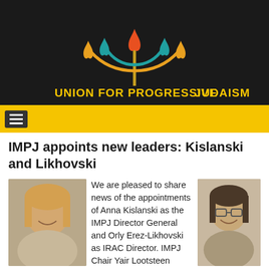[Figure (logo): Union for Progressive Judaism logo — menorah-like flame symbol in red, orange, and teal on black background with gold text 'UNION FOR PROGRESSIVE JUDAISM']
IMPJ appoints new leaders: Kislanski and Likhovski
[Figure (photo): Portrait photo of Anna Kislanski, a woman with blonde hair, smiling]
We are pleased to share news of the appointments of Anna Kislanski as the IMPJ Director General and Orly Erez-Likhovski as IRAC Director. IMPJ Chair Yair Lootsteen said:
[Figure (photo): Portrait photo of Orly Erez-Likhovski, a woman with dark hair and glasses, smiling]
said: "With the support of our Movement's other exceptional professional staff members, Anna Kislanski and Orly Erez-Likhovski will lead our Movement to even greater if"